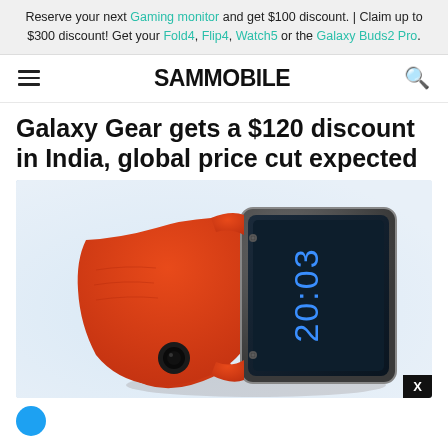Reserve your next Gaming monitor and get $100 discount. | Claim up to $300 discount! Get your Fold4, Flip4, Watch5 or the Galaxy Buds2 Pro.
SAMMOBILE
Galaxy Gear gets a $120 discount in India, global price cut expected
[Figure (photo): Samsung Galaxy Gear smartwatch with orange/red rubber band and dark metal casing, showing 20:03 on screen, with camera lens visible on band clasp area. Displayed on white/light blue background.]